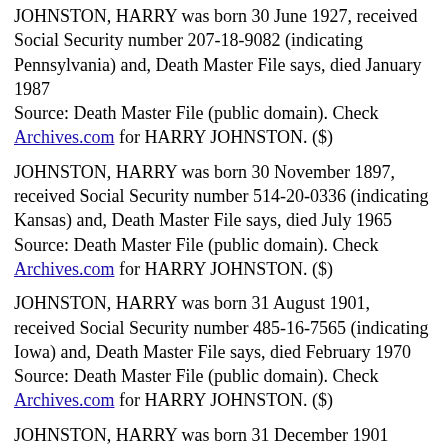JOHNSTON, HARRY was born 30 June 1927, received Social Security number 207-18-9082 (indicating Pennsylvania) and, Death Master File says, died January 1987
Source: Death Master File (public domain). Check Archives.com for HARRY JOHNSTON. ($)
JOHNSTON, HARRY was born 30 November 1897, received Social Security number 514-20-0336 (indicating Kansas) and, Death Master File says, died July 1965
Source: Death Master File (public domain). Check Archives.com for HARRY JOHNSTON. ($)
JOHNSTON, HARRY was born 31 August 1901, received Social Security number 485-16-7565 (indicating Iowa) and, Death Master File says, died February 1970
Source: Death Master File (public domain). Check Archives.com for HARRY JOHNSTON. ($)
JOHNSTON, HARRY was born 31 December 1901...